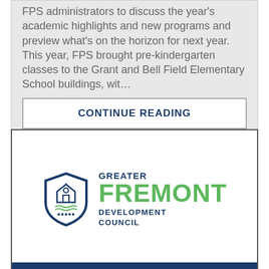FPS administrators to discuss the year's academic highlights and new programs and preview what's on the horizon for next year. This year, FPS brought pre-kindergarten classes to the Grant and Bell Field Elementary School buildings, wit…
CONTINUE READING
[Figure (logo): Greater Fremont Development Council logo — shield icon in navy blue on left, text 'GREATER FREMONT DEVELOPMENT COUNCIL' on right with GREATER and DEVELOPMENT COUNCIL in navy and FREMONT in green]
MEDIA RELEASE: GOV